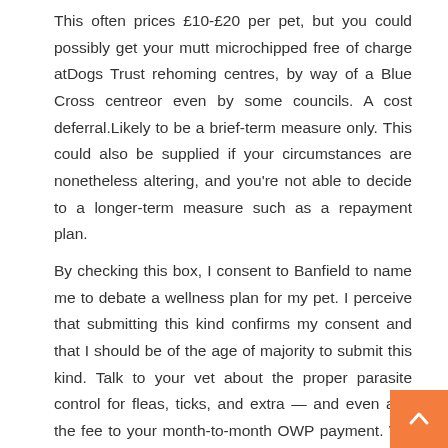This often prices £10-£20 per pet, but you could possibly get your mutt microchipped free of charge atDogs Trust rehoming centres, by way of a Blue Cross centreor even by some councils. A cost deferral.Likely to be a brief-term measure only. This could also be supplied if your circumstances are nonetheless altering, and you're not able to decide to a longer-term measure such as a repayment plan.
By checking this box, I consent to Banfield to name me to debate a wellness plan for my pet. I perceive that submitting this kind confirms my consent and that I should be of the age of majority to submit this kind. Talk to your vet about the proper parasite control for fleas, ticks, and extra — and even add the fee to your month-to-month OWP payment. We provide a range of OWPs designed for various needs, ages, and existence, from fuzzy pupp...